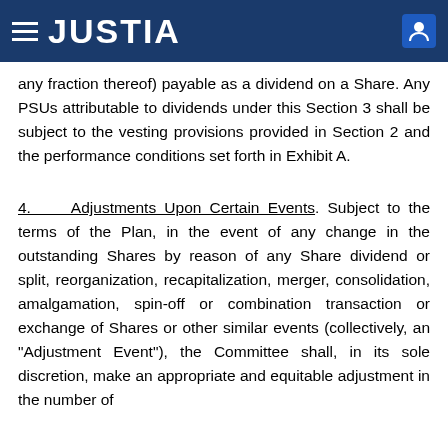JUSTIA
any fraction thereof) payable as a dividend on a Share. Any PSUs attributable to dividends under this Section 3 shall be subject to the vesting provisions provided in Section 2 and the performance conditions set forth in Exhibit A.
4. Adjustments Upon Certain Events. Subject to the terms of the Plan, in the event of any change in the outstanding Shares by reason of any Share dividend or split, reorganization, recapitalization, merger, consolidation, amalgamation, spin-off or combination transaction or exchange of Shares or other similar events (collectively, an "Adjustment Event"), the Committee shall, in its sole discretion, make an appropriate and equitable adjustment in the number of